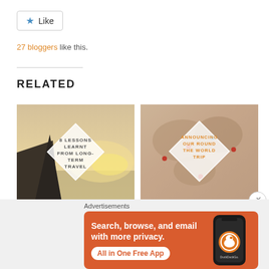[Figure (other): Like button with star icon]
27 bloggers like this.
RELATED
[Figure (photo): Travel photo with diamond overlay text: 8 LESSONS LEARNT FROM LONG-TERM TRAVEL]
8 LESSONS LEARNT FROM LONG-TERM TRAVEL
January 7, 2017
[Figure (photo): World map photo with diamond overlay text: ANNOUNCING OUR ROUND THE WORLD TRIP]
ANNOUNCING OUR UPCOMING ROUND THE WORLD TRIP
December 16, 2017
Advertisements
[Figure (other): DuckDuckGo advertisement banner: Search, browse, and email with more privacy. All in One Free App]